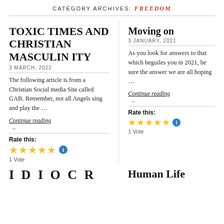CATEGORY ARCHIVES: FREEDOM
TOXIC TIMES AND CHRISTIAN MASCULINITY
3 MARCH, 2022
The following article is from a Christian Social media Site called GAB. Remember, not all Angels sing and play the …
Continue reading
Rate this:
1 Vote
Moving on
3 JANUARY, 2021
As you look for answers to that which beguiles you in 2021, be sure the answer we are all hoping …
Continue reading
Rate this:
1 Vote
IDIOCR
Human Life